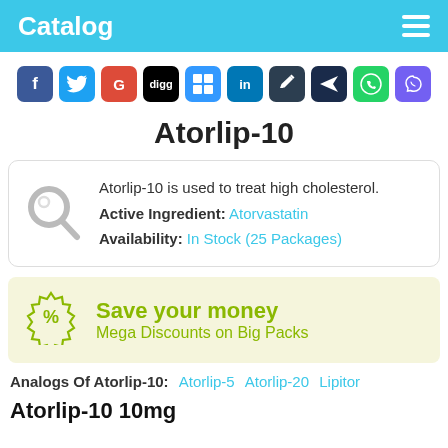Catalog
[Figure (infographic): Row of 10 social media sharing icons: Facebook, Twitter, Google+, Digg, Delicious, LinkedIn, Pencil/Edit, Bird, WhatsApp, Viber]
Atorlip-10
Atorlip-10 is used to treat high cholesterol. Active Ingredient: Atorvastatin Availability: In Stock (25 Packages)
Save your money
Mega Discounts on Big Packs
Analogs Of Atorlip-10: Atorlip-5 Atorlip-20 Lipitor
Atorlip-10 10mg